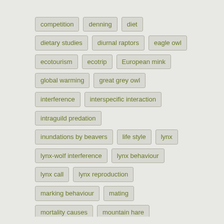competition
denning
diet
dietary studies
diurnal raptors
eagle owl
ecotourism
ecotrip
European mink
global warming
great grey owl
interference
interspecific interaction
intraguild predation
inundations by beavers
life style
lynx
lynx-wolf interference
lynx behaviour
lynx call
lynx reproduction
marking behaviour
mating
mortality causes
mountain hare